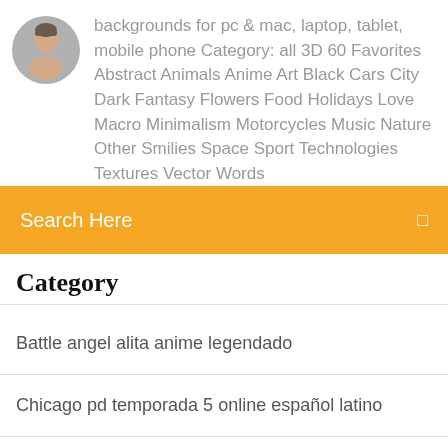[Figure (photo): Circular avatar photo of a man]
backgrounds for pc & mac, laptop, tablet, mobile phone Category: all 3D 60 Favorites Abstract Animals Anime Art Black Cars City Dark Fantasy Flowers Food Holidays Love Macro Minimalism Motorcycles Music Nature Other Smilies Space Sport Technologies Textures Vector Words
Search Here
Category
Battle angel alita anime legendado
Chicago pd temporada 5 online español latino
Baixar filme guerra mundial z completo dublado